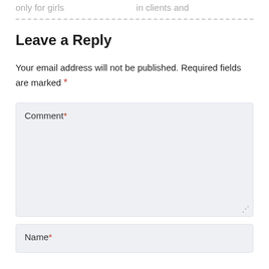only for girls   in clients and
Leave a Reply
Your email address will not be published. Required fields are marked *
Comment*
Name*